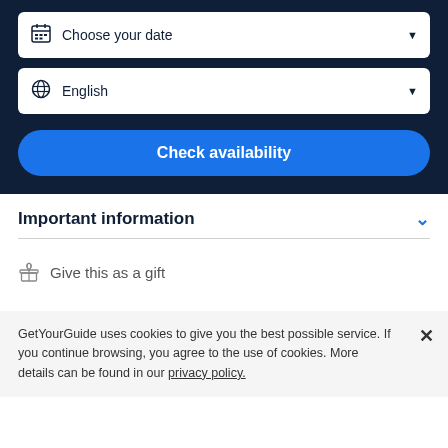[Figure (screenshot): Dropdown form field with calendar icon labeled 'Choose your date' with a down arrow]
[Figure (screenshot): Dropdown form field with globe icon labeled 'English' with a down arrow]
Check availability
Important information
Give this as a gift
GetYourGuide uses cookies to give you the best possible service. If you continue browsing, you agree to the use of cookies. More details can be found in our privacy policy.